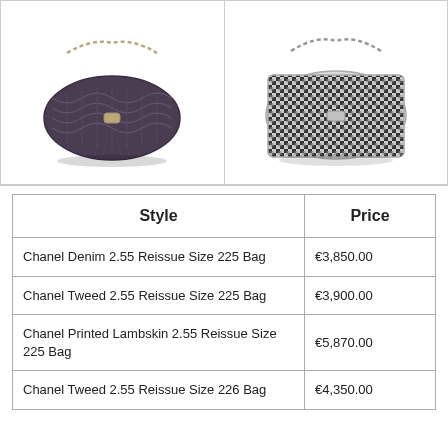[Figure (photo): Two Chanel 2.55 Reissue bags side by side: left is a dark/sparkly quilted bag with gold chain, right is a black and white tweed quilted bag with silver chain]
| Style | Price |
| --- | --- |
| Chanel Denim 2.55 Reissue Size 225 Bag | €3,850.00 |
| Chanel Tweed 2.55 Reissue Size 225 Bag | €3,900.00 |
| Chanel Printed Lambskin 2.55 Reissue Size 225 Bag | €5,870.00 |
| Chanel Tweed 2.55 Reissue Size 226 Bag | €4,350.00 |